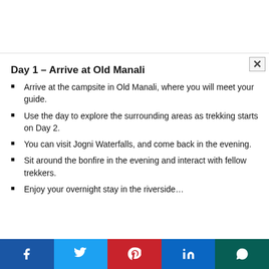Day 1 – Arrive at Old Manali
Arrive at the campsite in Old Manali, where you will meet your guide.
Use the day to explore the surrounding areas as trekking starts on Day 2.
You can visit Jogni Waterfalls, and come back in the evening.
Sit around the bonfire in the evening and interact with fellow trekkers.
Enjoy your overnight stay in the riverside…